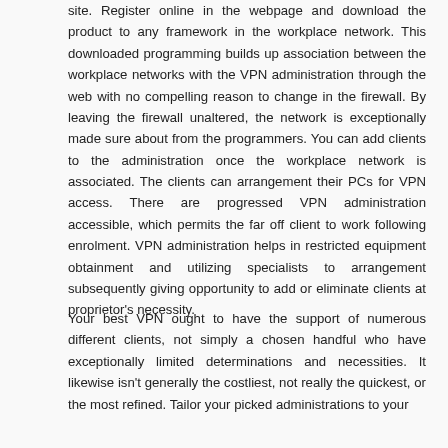site. Register online in the webpage and download the product to any framework in the workplace network. This downloaded programming builds up association between the workplace networks with the VPN administration through the web with no compelling reason to change in the firewall. By leaving the firewall unaltered, the network is exceptionally made sure about from the programmers. You can add clients to the administration once the workplace network is associated. The clients can arrangement their PCs for VPN access. There are progressed VPN administration accessible, which permits the far off client to work following enrolment. VPN administration helps in restricted equipment obtainment and utilizing specialists to arrangement subsequently giving opportunity to add or eliminate clients at proprietor's necessity.
Your best VPN ought to have the support of numerous different clients, not simply a chosen handful who have exceptionally limited determinations and necessities. It likewise isn't generally the costliest, not really the quickest, or the most refined. Tailor your picked administrations to your